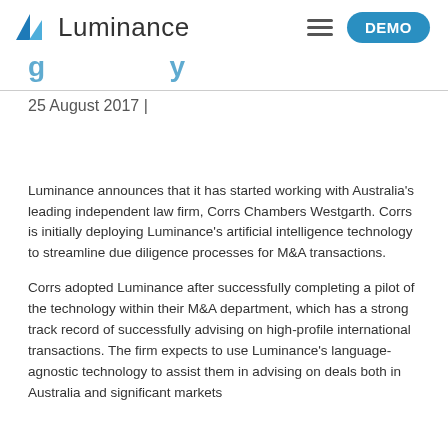Luminance — DEMO
[partial] ...g ...y
25 August 2017 |
Luminance announces that it has started working with Australia's leading independent law firm, Corrs Chambers Westgarth. Corrs is initially deploying Luminance's artificial intelligence technology to streamline due diligence processes for M&A transactions.
Corrs adopted Luminance after successfully completing a pilot of the technology within their M&A department, which has a strong track record of successfully advising on high-profile international transactions. The firm expects to use Luminance's language-agnostic technology to assist them in advising on deals both in Australia and significant markets